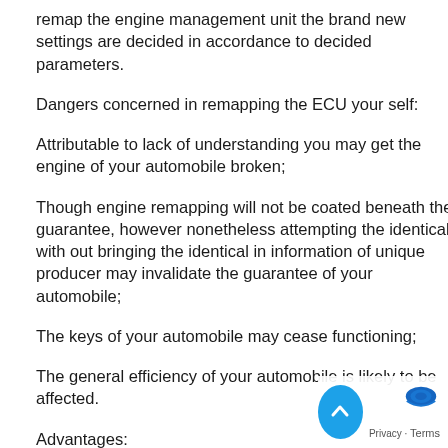remap the engine management unit the brand new settings are decided in accordance to decided parameters.
Dangers concerned in remapping the ECU your self:
Attributable to lack of understanding you may get the engine of your automobile broken;
Though engine remapping will not be coated beneath the guarantee, however nonetheless attempting the identical with out bringing the identical in information of unique producer may invalidate the guarantee of your automobile;
The keys of your automobile may cease functioning;
The general efficiency of your automobile is likely to be affected.
Advantages:
Improved energy, torque and gas consumption efficiencies;
You'll be able to allow the not required options like autom… gearbox shift factors, DPF, traction management, launch